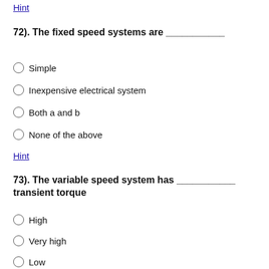Hint
72). The fixed speed systems are ___________
Simple
Inexpensive electrical system
Both a and b
None of the above
Hint
73). The variable speed system has ___________ transient torque
High
Very high
Low